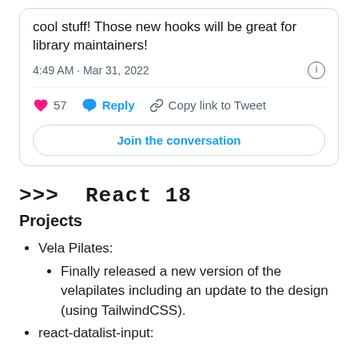[Figure (screenshot): Twitter/X tweet card showing partial tweet text 'cool stuff! Those new hooks will be great for library maintainers!' with timestamp '4:49 AM · Mar 31, 2022', 57 likes, Reply, Copy link to Tweet actions, and a 'Join the conversation' button.]
>>> React 18
Projects
Vela Pilates:
Finally released a new version of the velapilates including an update to the design (using TailwindCSS).
react-datalist-input: